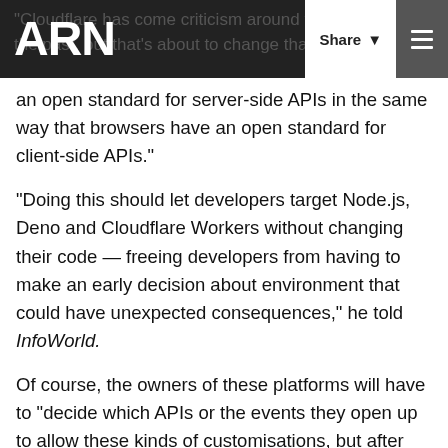ARN
"Cloudflare has come criticism around vendor lock-in the past, but that's about to change that, "by proposing an open standard for server-side APIs in the same way that browsers have an open standard for client-side APIs."
"Doing this should let developers target Node.js, Deno and Cloudflare Workers without changing their code — freeing developers from having to make an early decision about environment that could have unexpected consequences," he told InfoWorld.
Of course, the owners of these platforms will have to "decide which APIs or the events they open up to allow these kinds of customisations, but after that, a lot of code becomes glue code," Cloudflare's Graham-Cumming said. "I think if you enable it to be easy, people will do things you don't expect."